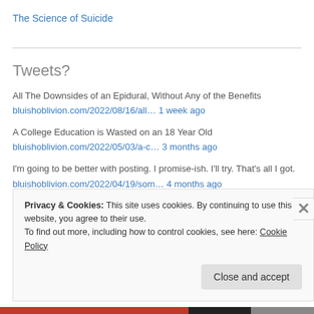The Science of Suicide
Tweets?
All The Downsides of an Epidural, Without Any of the Benefits
bluishoblivion.com/2022/08/16/all… 1 week ago
A College Education is Wasted on an 18 Year Old
bluishoblivion.com/2022/05/03/a-c… 3 months ago
I'm going to be better with posting. I promise-ish. I'll try. That's all I got.
bluishoblivion.com/2022/04/19/som… 4 months ago
Privacy & Cookies: This site uses cookies. By continuing to use this website, you agree to their use. To find out more, including how to control cookies, see here: Cookie Policy
Close and accept